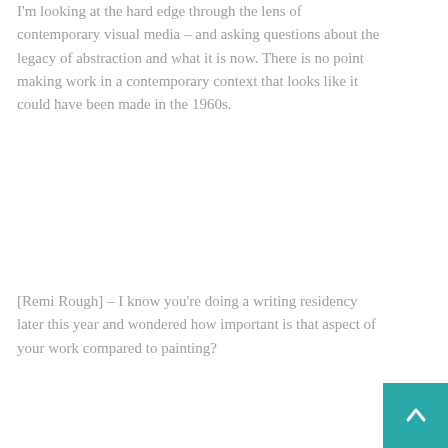I'm looking at the hard edge through the lens of contemporary visual media – and asking questions about the legacy of abstraction and what it is now. There is no point making work in a contemporary context that looks like it could have been made in the 1960s.
[Remi Rough] – I know you're doing a writing residency later this year and wondered how important is that aspect of your work compared to painting?